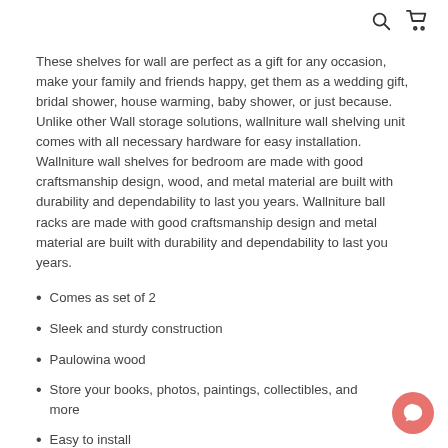[search icon] [cart icon]
These shelves for wall are perfect as a gift for any occasion, make your family and friends happy, get them as a wedding gift, bridal shower, house warming, baby shower, or just because. Unlike other Wall storage solutions, wallniture wall shelving unit comes with all necessary hardware for easy installation. Wallniture wall shelves for bedroom are made with good craftsmanship design, wood, and metal material are built with durability and dependability to last you years. Wallniture ball racks are made with good craftsmanship design and metal material are built with durability and dependability to last you years.
Comes as set of 2
Sleek and sturdy construction
Paulowina wood
Store your books, photos, paintings, collectibles, and more
Easy to install